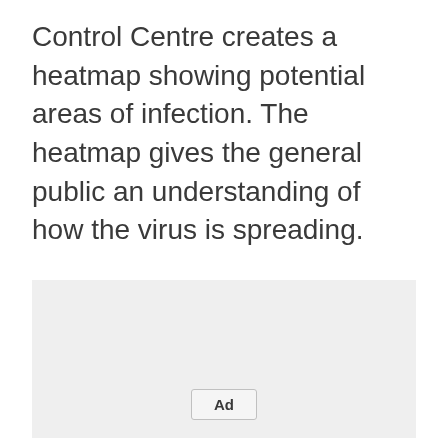Control Centre creates a heatmap showing potential areas of infection. The heatmap gives the general public an understanding of how the virus is spreading.
[Figure (other): A blank light grey advertisement placeholder box with an 'Ad' button label at the bottom center.]